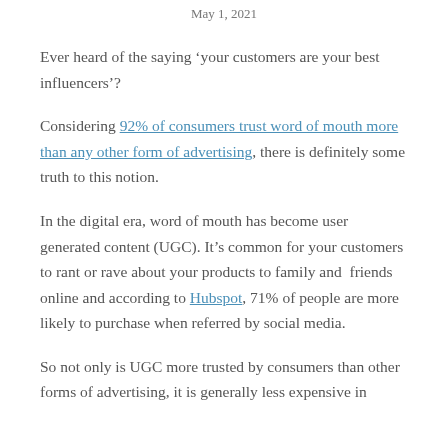May 1, 2021
Ever heard of the saying ‘your customers are your best influencers’?
Considering 92% of consumers trust word of mouth more than any other form of advertising, there is definitely some truth to this notion.
In the digital era, word of mouth has become user generated content (UGC). It’s common for your customers to rant or rave about your products to family and friends online and according to Hubspot, 71% of people are more likely to purchase when referred by social media.
So not only is UGC more trusted by consumers than other forms of advertising, it is generally less expensive in